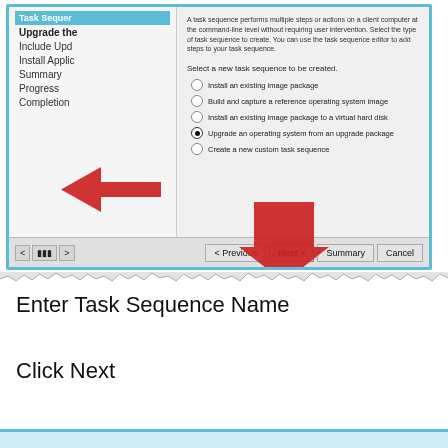[Figure (screenshot): Windows task sequence wizard dialog showing options to select a new task sequence type. Left panel lists: Task Sequer (truncated), Upgrade the (bold), Include Upd (truncated), Install Applic (truncated), Summary, Progress, Completion. Right panel shows description text and radio buttons: Install an existing image package, Build and capture a reference operating system image, Install an existing image package to a virtual hard disk, Upgrade an operating system from an upgrade package (selected), Create a new custom task sequence. Bottom bar has navigation arrows, Previous, Next >, Summary, Cancel buttons. Two red arrows point to the selected radio button and the Next button.]
Enter Task Sequence Name
Click Next
[Figure (screenshot): Partial view of another wizard dialog at the bottom of the page (cropped)]